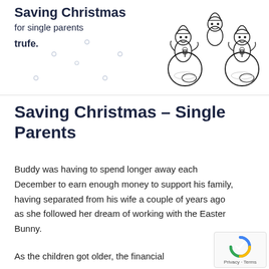Saving Christmas for single parents
trufe.
[Figure (illustration): Cartoon elves sitting on Christmas ornament balls]
Saving Christmas – Single Parents
Buddy was having to spend longer away each December to earn enough money to support his family, having separated from his wife a couple of years ago as she followed her dream of working with the Easter Bunny.
As the children got older, the financial